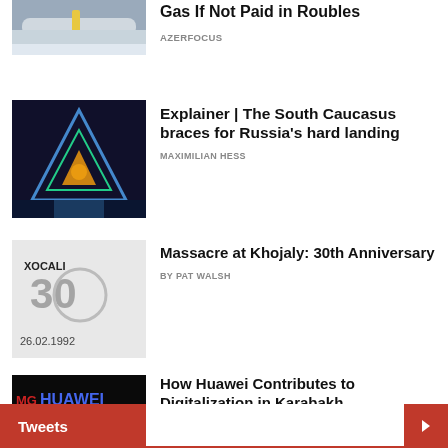[Figure (photo): Gas pipeline equipment in winter setting]
Gas If Not Paid in Roubles
AzerFocus
[Figure (photo): Illuminated pyramid-shaped building at night with colorful lighting]
Explainer | The South Caucasus braces for Russia's hard landing
MAXIMILIAN HESS
[Figure (photo): Xocali 30th anniversary memorial image with date 26.02.1992]
Massacre at Khojaly: 30th Anniversary
BY PAT WALSH
[Figure (photo): Huawei illuminated sign in dark setting]
How Huawei Contributes to Digitalization in Karabakh
VUSAL GULIYEV
Tweets